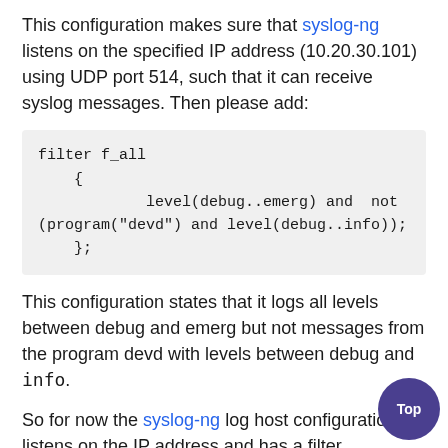This configuration makes sure that syslog-ng listens on the specified IP address (10.20.30.101) using UDP port 514, such that it can receive syslog messages. Then please add:
filter f_all
    {
            level(debug..emerg) and not (program("devd") and level(debug..info));
    };
This configuration states that it logs all levels between debug and emerg but not messages from the program devd with levels between debug and info.
So for now the syslog-ng log host configuration listens on the IP address and has a filter.
Next is configuring where the log host saves its log files. This configuration saves logs for a week only with a separate log file for each weekday (Mon.log, Tue.log,